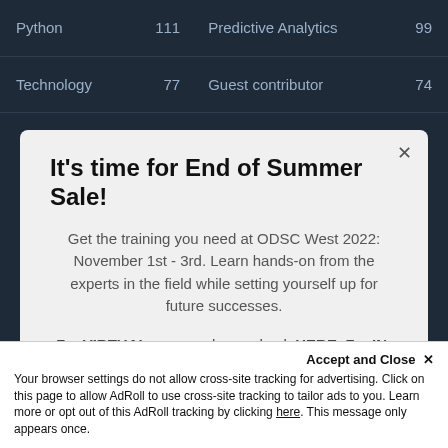| Topic | Count | Topic | Count |
| --- | --- | --- | --- |
| Python | 111 | Predictive Analytics | 99 |
| Technology | 77 | Guest contributor | 74 |
It's time for End of Summer Sale!
Get the training you need at ODSC West 2022: November 1st - 3rd. Learn hands-on from the experts in the field while setting yourself up for future successes.
For VIRTUAL passes please check HERE. For IN-PERSON passes please click below.
Get the Offer - Sale Ends Friday
Accept and Close ✕
Your browser settings do not allow cross-site tracking for advertising. Click on this page to allow AdRoll to use cross-site tracking to tailor ads to you. Learn more or opt out of this AdRoll tracking by clicking here. This message only appears once.